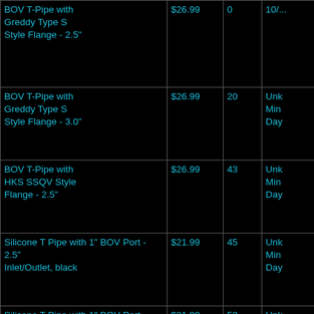| Product | Price | Qty | Info |
| --- | --- | --- | --- |
| BOV T-Pipe with Greddy Type S Style Flange - 2.5" | $26.99 | 0 | 10/... |
| BOV T-Pipe with Greddy Type S Style Flange - 3.0" | $26.99 | 20 | Unk
Min
Day |
| BOV T-Pipe with HKS SSQV Style Flange - 2.5" | $26.99 | 43 | Unk
Min
Day |
| Silicone T Pipe with 1" BOV Port - 2.5" Inlet/Outlet, black | $21.99 | 45 | Unk
Min
Day |
| Silicone T Pipe with 1" BOV Port - 2.5" Inlet/Outlet, blue | $21.99 | 53 | Unk
Min
Day |
| Silicone T Pipe with 1.25" BOV Port - 2.5" Inlet/Outlet, black | $21.99 | 157 | Unk
Min
Day |
| Silicone T Pipe with 1.25" BOV Port - 2.5" Inlet/Outlet, blue | $21.99 | 20 | Unk
Min
Day |
| Universal Beehive Style BOV - Silver | $39.99 | 20 | Unk
Min |